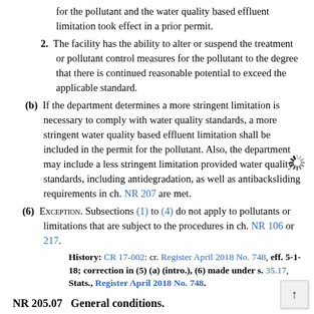for the pollutant and the water quality based effluent limitation took effect in a prior permit.
2. The facility has the ability to alter or suspend the treatment or pollutant control measures for the pollutant to the degree that there is continued reasonable potential to exceed the applicable standard.
(b) If the department determines a more stringent limitation is necessary to comply with water quality standards, a more stringent water quality based effluent limitation shall be included in the permit for the pollutant. Also, the department may include a less stringent limitation provided water quality standards, including antidegradation, as well as antibacksliding requirements in ch. NR 207 are met.
(6) EXCEPTION. Subsections (1) to (4) do not apply to pollutants or limitations that are subject to the procedures in ch. NR 106 or 217.
History: CR 17-002: cr. Register April 2018 No. 748, eff. 5-1-18; correction in (5) (a) (intro.), (6) made under s. 35.17, Stats., Register April 2018 No. 748.
NR 205.07   General conditions.
(1) The following conditions shall be included in all WPDES permits issued by the department. Other conditions that may be included in POTW and non-POTW permits are contained in subs. (2) and (3), respectively.